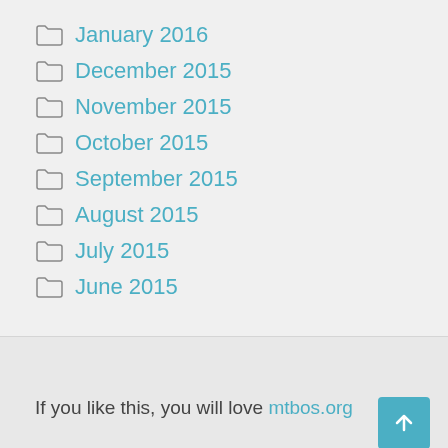January 2016
December 2015
November 2015
October 2015
September 2015
August 2015
July 2015
June 2015
If you like this, you will love mtbos.org